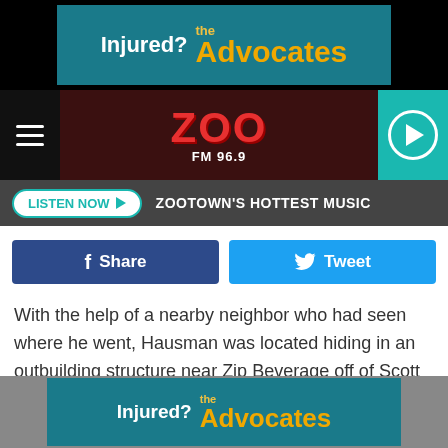[Figure (screenshot): Top advertisement banner: 'Injured? the Advocates' on teal background with black sides]
[Figure (logo): Zoo FM 96.9 radio station header with hamburger menu, red logo, and teal play button]
LISTEN NOW  ZOOTOWN'S HOTTEST MUSIC
[Figure (infographic): Social sharing buttons: blue Facebook Share button and light blue Twitter Tweet button]
With the help of a nearby neighbor who had seen where he went, Hausman was located hiding in an outbuilding structure near Zip Beverage off of Scott Street. He was hiding in the rafters of the structure.
The owner of the vehicle authorized a search of her car.
[Figure (screenshot): Bottom advertisement banner: 'Injured? the Advocates' on teal background with gray sides]